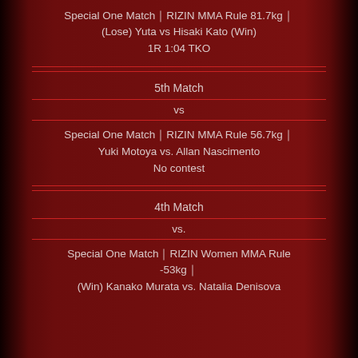Special One Match｜RIZIN MMA Rule 81.7kg｜
(Lose) Yuta vs Hisaki Kato (Win)
1R 1:04 TKO
5th Match
vs
Special One Match｜RIZIN MMA Rule 56.7kg｜
Yuki Motoya vs. Allan Nascimento
No contest
4th Match
vs.
Special One Match｜RIZIN Women MMA Rule -53kg｜
(Win) Kanako Murata vs. Natalia Denisova